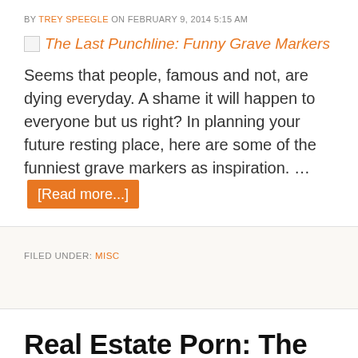BY TREY SPEEGLE ON FEBRUARY 9, 2014 5:15 AM
[Figure (other): Broken image icon with link text: The Last Punchline: Funny Grave Markers]
Seems that people, famous and not, are dying everyday. A shame it will happen to everyone but us right? In planning your future resting place, here are some of the funniest grave markers as inspiration. … [Read more...]
FILED UNDER: MISC
Real Estate Porn: The Legendary Merv Griffin Estate Up for Sale